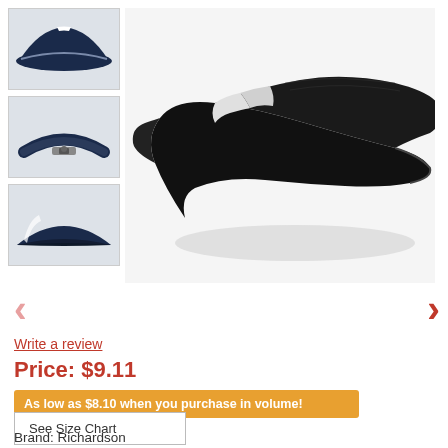[Figure (photo): Thumbnail 1: Navy/white sports visor, front view]
[Figure (photo): Thumbnail 2: Navy sports visor, back/interior view]
[Figure (photo): Thumbnail 3: Navy sports visor, side/front brim view]
[Figure (photo): Main product image: Black and white sports sun visor, angled view on white background]
‹
›
Write a review
Price: $9.11
As low as $8.10 when you purchase in volume!
See Size Chart
Brand: Richardson
SKU: 708